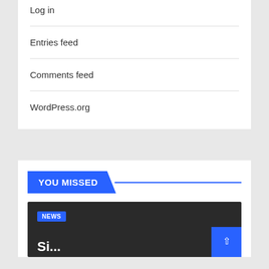Log in
Entries feed
Comments feed
WordPress.org
YOU MISSED
NEWS